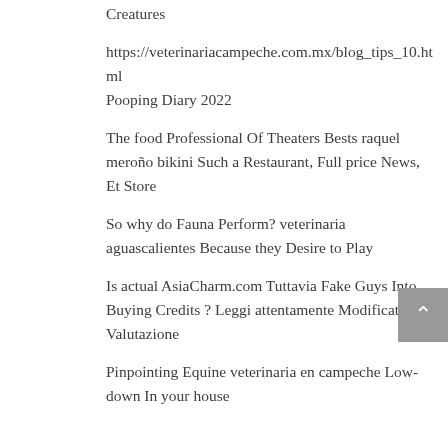Creatures
https://veterinariacampeche.com.mx/blog_tips_10.html
Pooping Diary 2022
The food Professional Of Theaters Bests raquel meroño bikini Such a Restaurant, Full price News, Et Store
So why do Fauna Perform? veterinaria aguascalientes Because they Desire to Play
Is actual AsiaCharm.com Tuttavia Fake Guys Into Buying Credits ? Leggi attentamente Modificato Valutazione
Pinpointing Equine veterinaria en campeche Low-down In your house
Värsked kommentaarid